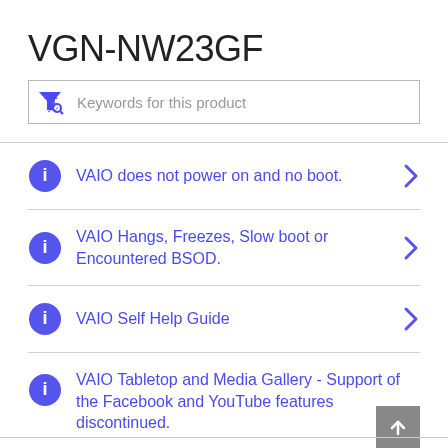VGN-NW23GF
Keywords for this product
VAIO does not power on and no boot.
VAIO Hangs, Freezes, Slow boot or Encountered BSOD.
VAIO Self Help Guide
VAIO Tabletop and Media Gallery - Support of the Facebook and YouTube features discontinued.